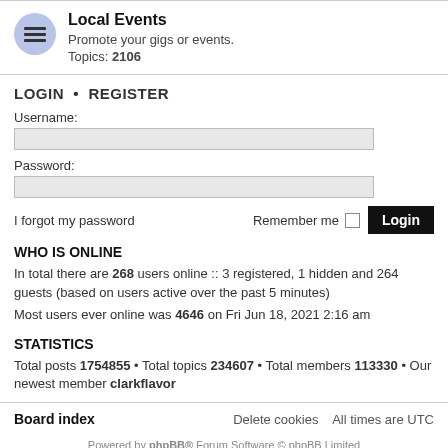Local Events
Promote your gigs or events.
Topics: 2106
LOGIN • REGISTER
Username:
Password:
I forgot my password    Remember me  Login
WHO IS ONLINE
In total there are 268 users online :: 3 registered, 1 hidden and 264 guests (based on users active over the past 5 minutes)
Most users ever online was 4646 on Fri Jun 18, 2021 2:16 am
STATISTICS
Total posts 1754855 • Total topics 234607 • Total members 113330 • Our newest member clarkflavor
Board index    Delete cookies   All times are UTC
Powered by phpBB® Forum Software © phpBB Limited
Legal Info | Privacy Policy | Terms | Cookie Settings | Imprint